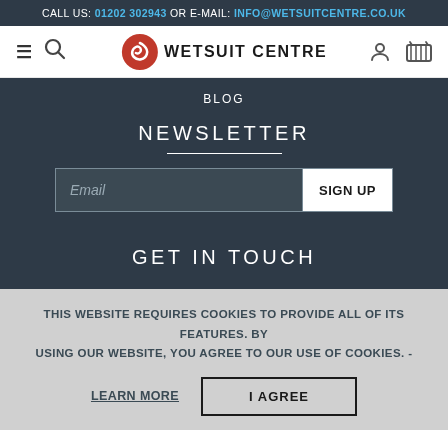CALL US: 01202 302943 OR E-MAIL: INFO@WETSUITCENTRE.CO.UK
[Figure (logo): Wetsuit Centre logo with red spiral wave icon and bold uppercase text WETSUIT CENTRE]
BLOG
NEWSLETTER
Email  SIGN UP
GET IN TOUCH
THIS WEBSITE REQUIRES COOKIES TO PROVIDE ALL OF ITS FEATURES. BY USING OUR WEBSITE, YOU AGREE TO OUR USE OF COOKIES. -
LEARN MORE   I AGREE